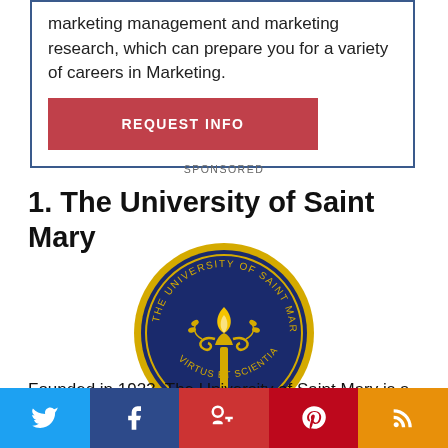marketing management and marketing research, which can prepare you for a variety of careers in Marketing.
REQUEST INFO
SPONSORED
1. The University of Saint Mary
[Figure (logo): Circular seal of The University of Saint Mary featuring a torch with flames, decorative scrollwork, and the text 'THE UNIVERSITY OF SAINT MARY' around the top and 'VIRTUS ET SCIENTIA' at the bottom, on a navy blue background with gold/yellow design elements and a gold border ring.]
Founded in 1923, The University of Saint Mary is a private liberal arts university located in Leavenworth
[Figure (infographic): Social media share bar with Twitter (blue), Facebook (dark blue), Google+ (red), Pinterest (red), and RSS (orange) buttons with white icons]